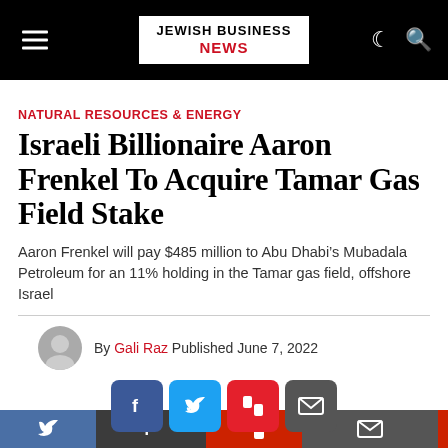JEWISH BUSINESS NEWS
NATURAL RESOURCES & ENERGY
Israeli Billionaire Aaron Frenkel To Acquire Tamar Gas Field Stake
Aaron Frenkel will pay $485 million to Abu Dhabi’s Mubadala Petroleum for an 11% holding in the Tamar gas field, offshore Israel
By Gali Raz Published June 7, 2022